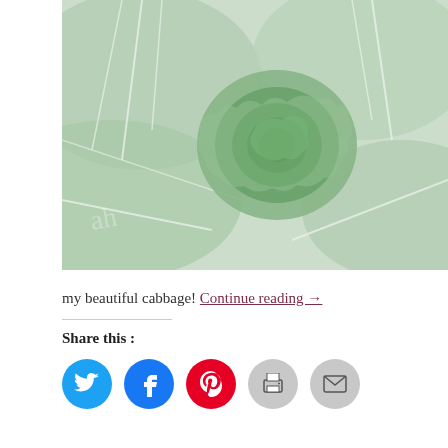[Figure (photo): Close-up photograph of a green cabbage head surrounded by large leaves with white veins, top-down view]
my beautiful cabbage! Continue reading →
Share this :
[Figure (infographic): Row of social share buttons: Twitter (blue), Facebook (blue), Pinterest (red), Print (grey), Email (grey)]